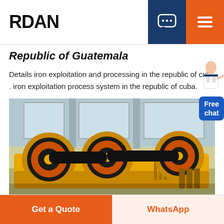RDAN
Republic of Guatemala
Details iron exploitation and processing in the republic of cuba . iron exploitation process system in the republic of cuba.
[Figure (photo): Industrial jaw crusher machines with large black rubber wheels and yellow painted metal frame, inside a factory or warehouse setting.]
Get a Quote | WhatsApp